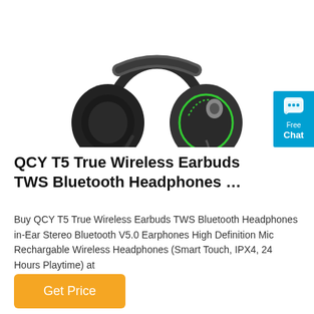[Figure (photo): Gaming headphones with black ear cups and green accent lighting, with a green-tipped microphone boom, shown from a slight angle on a white background.]
[Figure (other): Blue chat widget button on the right side with a speech bubble icon and text 'Free Chat']
QCY T5 True Wireless Earbuds TWS Bluetooth Headphones …
Buy QCY T5 True Wireless Earbuds TWS Bluetooth Headphones in-Ear Stereo Bluetooth V5.0 Earphones High Definition Mic Rechargable Wireless Headphones (Smart Touch, IPX4, 24 Hours Playtime) at
Get Price